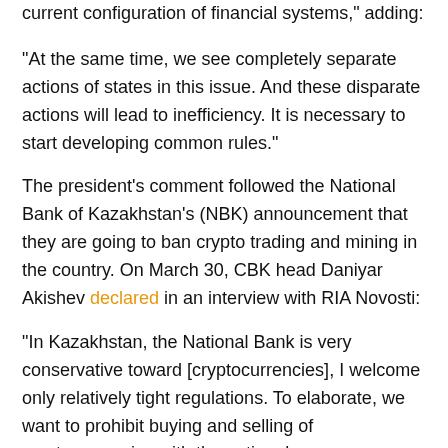current configuration of financial systems," adding:
“At the same time, we see completely separate actions of states in this issue. And these disparate actions will lead to inefficiency. It is necessary to start developing common rules.”
The president's comment followed the National Bank of Kazakhstan's (NBK) announcement that they are going to ban crypto trading and mining in the country. On March 30, CBK head Daniyar Akishev declared in an interview with RIA Novosti:
“In Kazakhstan, the National Bank is very conservative toward [cryptocurrencies], I welcome only relatively tight regulations. To elaborate, we want to prohibit buying and selling of cryptocurrencies with the national currency, we